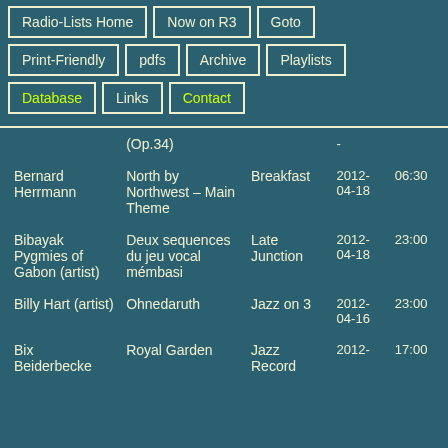Radio-Lists Home
Now on R3
Goto
Print-Friendly
pdfs
Archive
Playlists
Database
Links
Contact
| Artist | Title | Show | Date | Time |
| --- | --- | --- | --- | --- |
|  | (Op.34) | - |  |  |
| Bernard Herrmann | North by Northwest – Main Theme | Breakfast | 2012-04-18 | 06:30 |
| Bibayak Pygmies of Gabon (artist) | Deux sequences du jeu vocal mémbasi | Late Junction | 2012-04-18 | 23:00 |
| Billy Hart (artist) | Ohnedaruth | Jazz on 3 | 2012-04-16 | 23:00 |
| Bix Beiderbecke | Royal Garden | Jazz Record | 2012- | 17:00 |